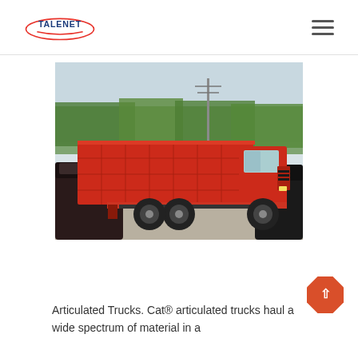TALENET
[Figure (photo): A large red dump truck parked in a lot surrounded by dark-colored cars, with trees and power lines in the background.]
Articulated Trucks. Cat® articulated trucks haul a wide spectrum of material in a